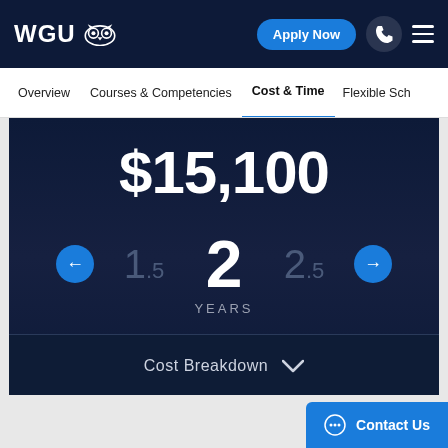[Figure (screenshot): WGU university website header with logo, Apply Now button, phone icon, and hamburger menu]
WGU 🦉
Overview   Courses & Competencies   Cost & Time   Flexible Sch...
$15,100
1.5   2   2.5 YEARS
Cost Breakdown ∨
Contact Us